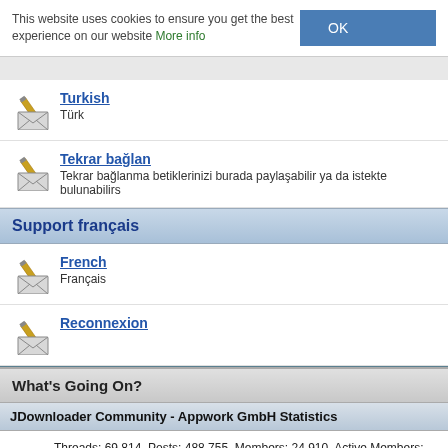This website uses cookies to ensure you get the best experience on our website More info OK
Turkish — Türk
Tekrar bağlan — Tekrar bağlanma betiklerinizi burada paylaşabilir ya da istekte bulunabilirs
Support français
French — Français
Reconnexion
Mark Forums Read
What's Going On?
JDownloader Community - Appwork GmbH Statistics
Threads: 69,814, Posts: 488,755, Members: 24,910, Active Members: 679 Welcome to our newest member, jevusito